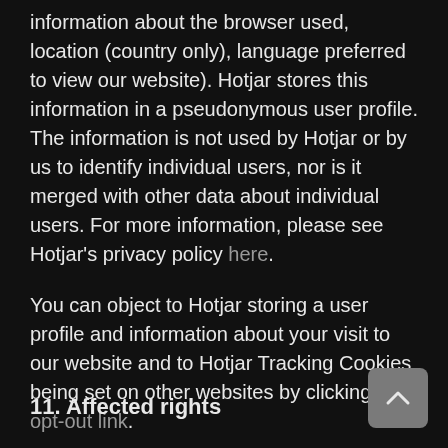information about the browser used, location (country only), language preferred to view our website). Hotjar stores this information in a pseudonymous user profile. The information is not used by Hotjar or by us to identify individual users, nor is it merged with other data about individual users. For more information, please see Hotjar's privacy policy here.
You can object to Hotjar storing a user profile and information about your visit to our website and to Hotjar Tracking Cookies being set on other websites by clicking this opt-out link.
11. Affected rights